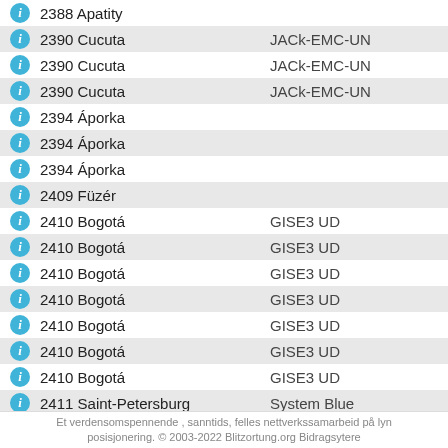2388 Apatity
2390 Cucuta   JACk-EMC-UN
2390 Cucuta   JACk-EMC-UN
2390 Cucuta   JACk-EMC-UN
2394 Áporka
2394 Áporka
2394 Áporka
2409 Füzér
2410 Bogotá   GISE3 UD
2410 Bogotá   GISE3 UD
2410 Bogotá   GISE3 UD
2410 Bogotá   GISE3 UD
2410 Bogotá   GISE3 UD
2410 Bogotá   GISE3 UD
2410 Bogotá   GISE3 UD
2411 Saint-Petersburg   System Blue
Et verdensomspennende , sanntids, felles nettverkssamarbeid på lyn posisjonering. © 2003-2022 Blitzortung.org Bidragsytere